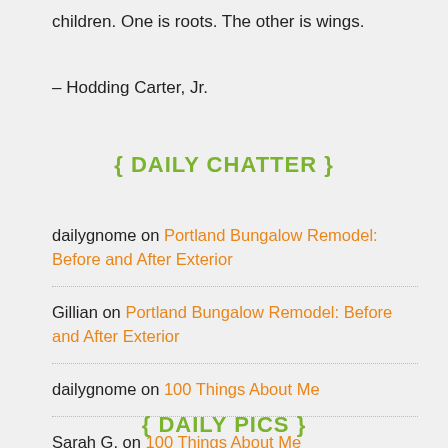children. One is roots. The other is wings.
– Hodding Carter, Jr.
{ DAILY CHATTER }
dailygnome on Portland Bungalow Remodel: Before and After Exterior
Gillian on Portland Bungalow Remodel: Before and After Exterior
dailygnome on 100 Things About Me
Sarah G. on 100 Things About Me
{ DAILY PICS }